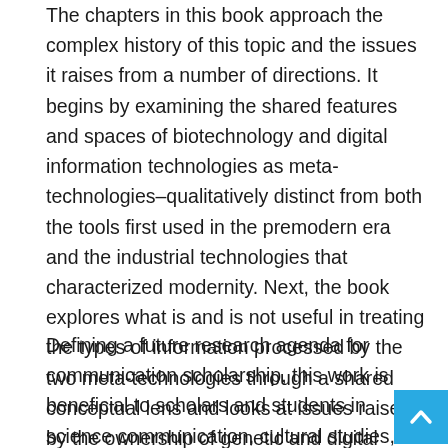The chapters in this book approach the complex history of this topic and the issues it raises from a number of directions. It begins by examining the shared features and spaces of biotechnology and digital information technologies as meta-technologies–qualitatively distinct from both the tools first used in the premodern era and the industrial technologies that characterized modernity. Next, the book explores what is and is not useful in treating the types of information processed by the two meta-technologies through a shared conceptual lens and looks at issues raised by the ownership of genetic and digital information. The final chapters are concerned with relationships between information and power.
Defining a future research agenda for communication scholarship, this work is beneficial to scholars and students in science communication, cultural studies, information technologies, and sociology.